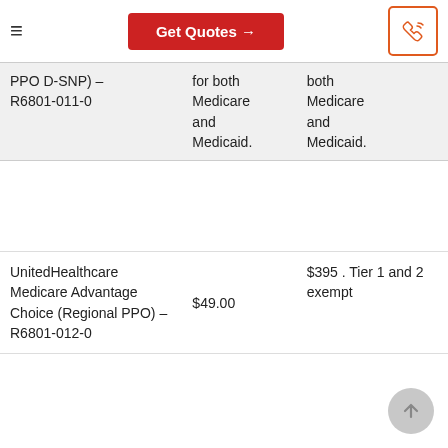Get Quotes →
| Plan Name | Monthly Premium | Drug Deductible |
| --- | --- | --- |
| (... PPO D-SNP) – R6801-011-0 | for both Medicare and Medicaid. | both Medicare and Medicaid. |
| UnitedHealthcare Medicare Advantage Choice (Regional PPO) – R6801-012-0 | $49.00 | $395 . Tier 1 and 2 exempt |